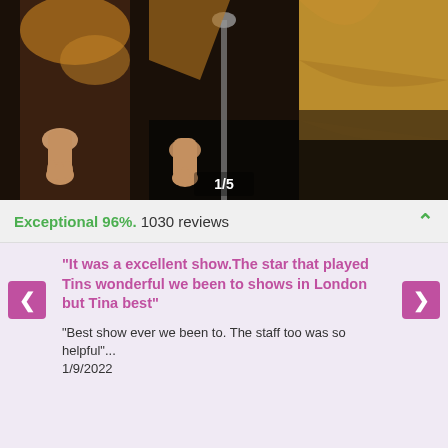[Figure (photo): Performers on stage in gold/black costumes, close-up of torsos and hands, with image counter showing 1/5]
Exceptional 96%. 1030 reviews
"It was a excellent show.The star that played Tins wonderful we been to shows in London but Tina best"
"Best show ever we been to. The staff too was so helpful"...
1/9/2022
Close reviews ✕
Getting there
Map